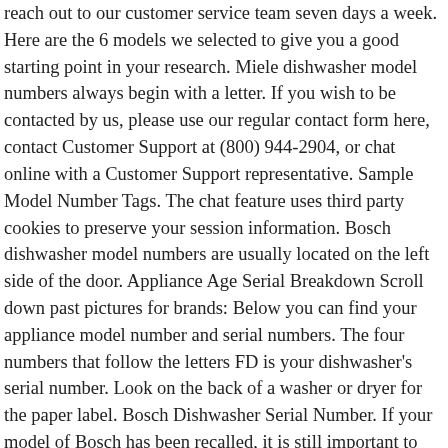reach out to our customer service team seven days a week. Here are the 6 models we selected to give you a good starting point in your research. Miele dishwasher model numbers always begin with a letter. If you wish to be contacted by us, please use our regular contact form here, contact Customer Support at (800) 944-2904, or chat online with a Customer Support representative. Sample Model Number Tags. The chat feature uses third party cookies to preserve your session information. Bosch dishwasher model numbers are usually located on the left side of the door. Appliance Age Serial Breakdown Scroll down past pictures for brands: Below you can find your appliance model number and serial numbers. The four numbers that follow the letters FD is your dishwasher's serial number. Look on the back of a washer or dryer for the paper label. Bosch Dishwasher Serial Number. If your model of Bosch has been recalled, it is still important to check the serial number because it is possible that not all dishwashers of that particular models were recalled. Failing that, ask